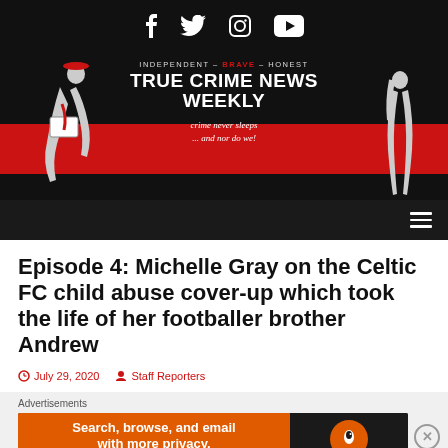True Crime News Weekly — Independent · Brave · Honest — crime never sleeps ... and nor do we!
Episode 4: Michelle Gray on the Celtic FC child abuse cover-up which took the life of her footballer brother Andrew
July 29, 2020   Staff Reporters
[Figure (other): DuckDuckGo advertisement banner: 'Search, browse, and email with more privacy. All in One Free App']